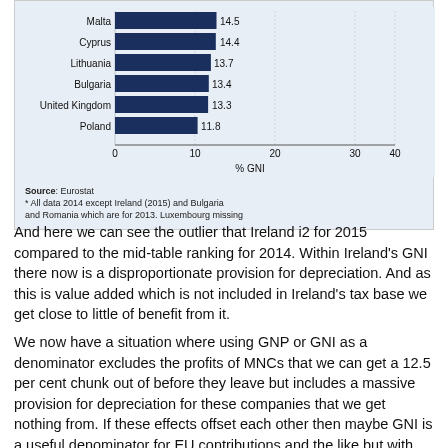[Figure (bar-chart): % GNI (horizontal bar chart)]
Source: Eurostat
* All data 2014 except Ireland (2015) and Bulgaria and Romania which are for 2013. Luxembourg missing
And here we can see the outlier that Ireland i2 for 2015 compared to the mid-table ranking for 2014. Within Ireland’s GNI there now is a disproportionate provision for depreciation.  And as this is value added which is not included in Ireland’s tax base we get close to little of benefit from it.
We now have a situation where using GNP or GNI as a denominator excludes the profits of MNCs that we can get a 12.5 per cent chunk out of before they leave but includes a massive provision for depreciation for these companies that we get nothing from.  If these effects offset each other then maybe GNI is a useful denominator for EU contributions and the like but with the headline data we have at the moment it